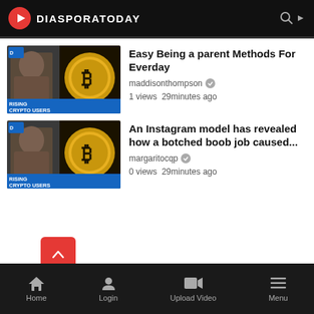DIASPORATODAY
[Figure (screenshot): Video thumbnail showing a man's face and a Bitcoin gold coin with text RISING CRYPTO USERS]
Easy Being a parent Methods For Everday
maddisonthompson ✓
1 views  29minutes ago
[Figure (screenshot): Video thumbnail showing a man's face and a Bitcoin gold coin with text RISING CRYPTO USERS]
An Instagram model has revealed how a botched boob job caused...
margaritocqp ✓
0 views  29minutes ago
Home  Login  Upload Video  Menu